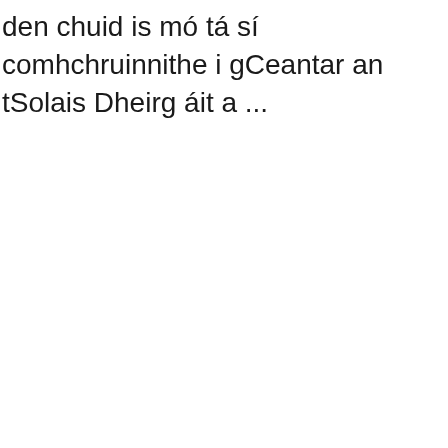den chuid is mó tá sí comhchruinnithe i gCeantar an tSolais Dheirg áit a ...